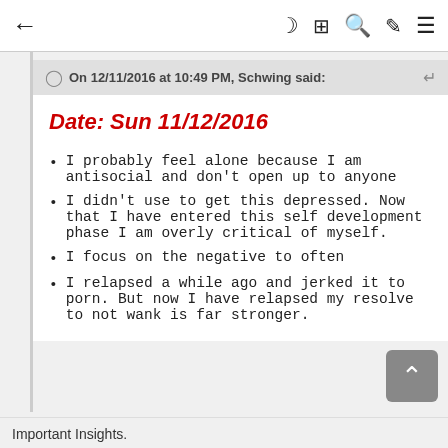← [title] ☾ ▦ 🔍 ✏ ≡
On 12/11/2016 at 10:49 PM, Schwing said:
Date: Sun 11/12/2016
I probably feel alone because I am antisocial and don't open up to anyone
I didn't use to get this depressed. Now that I have entered this self development phase I am overly critical of myself.
I focus on the negative to often
I relapsed a while ago and jerked it to porn. But now I have relapsed my resolve to not wank is far stronger.
Important Insights.